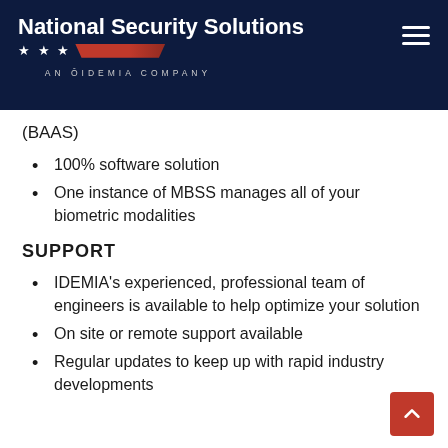National Security Solutions — AN IDEMIA COMPANY
(BAAS)
100% software solution
One instance of MBSS manages all of your biometric modalities
SUPPORT
IDEMIA's experienced, professional team of engineers is available to help optimize your solution
On site or remote support available
Regular updates to keep up with rapid industry developments